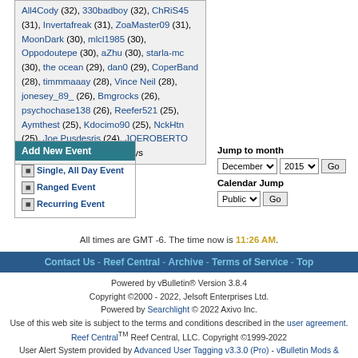All4Cody (32), 330badboy (32), ChRiS45 (31), Invertafreak (31), ZoaMaster09 (31), MoonDark (30), mlcl1985 (30), Oppodoutepe (30), aZhu (30), starla-mc (30), the ocean (29), dan0 (29), CoperBand (28), timmmaaay (28), Vince Neil (28), jonesey_89_ (26), Bmgrocks (26), psychochase138 (26), Reefer521 (25), Aymthest (25), Kdocimo90 (25), NckHtn (25), Joe Pusdesris (24), JOEROBERTO (23), ejrabekoff (22) Birthdays
Add New Event
Single, All Day Event
Ranged Event
Recurring Event
Jump to month: December 2015 Go
Calendar Jump: Public Go
All times are GMT -6. The time now is 11:26 AM.
Contact Us - Reef Central - Archive - Terms of Service - Top
Powered by vBulletin® Version 3.8.4 Copyright ©2000 - 2022, Jelsoft Enterprises Ltd. Powered by Searchlight © 2022 Axivo Inc. Use of this web site is subject to the terms and conditions described in the user agreement. Reef Central™ Reef Central, LLC. Copyright ©1999-2022 User Alert System provided by Advanced User Tagging v3.3.0 (Pro) - vBulletin Mods & Addons Copyright © 2022 DragonByte Technologies Ltd.